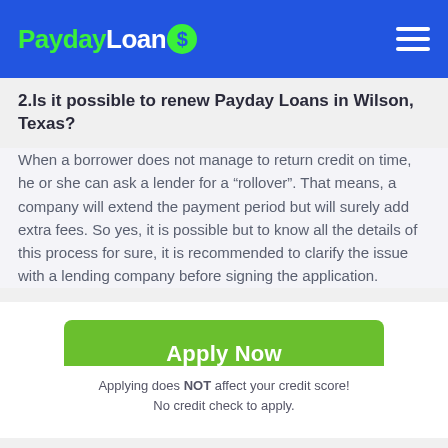PaydayLoans
2.Is it possible to renew Payday Loans in Wilson, Texas?
When a borrower does not manage to return credit on time, he or she can ask a lender for a “rollover”. That means, a company will extend the payment period but will surely add extra fees. So yes, it is possible but to know all the details of this process for sure, it is recommended to clarify the issue with a lending company before signing the application.
[Figure (other): Green 'Apply Now' button]
Applying does NOT affect your credit score! No credit check to apply.